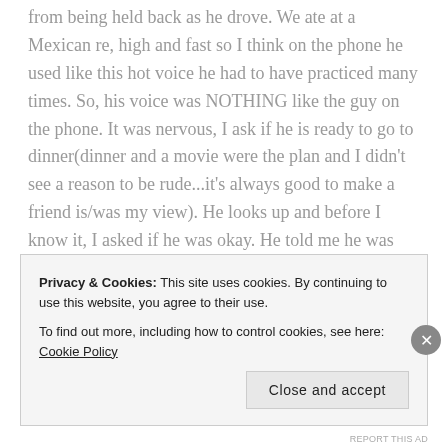from being held back as he drove. We ate at a Mexican re, high and fast so I think on the phone he used like this hot voice he had to have practiced many times. So, his voice was NOTHING like the guy on the phone. It was nervous, I ask if he is ready to go to dinner(dinner and a movie were the plan and I didn't see a reason to be rude...it's always good to make a friend is/was my view). He looks up and before I know it, I asked if he was okay. He told me he was just nervous. Acceptable, I just want to tell you happy mother's day" I thanked him and assured him it was no trouble and though it didn't work out,
Privacy & Cookies: This site uses cookies. By continuing to use this website, you agree to their use.
To find out more, including how to control cookies, see here: Cookie Policy
Close and accept
REPORT THIS AD